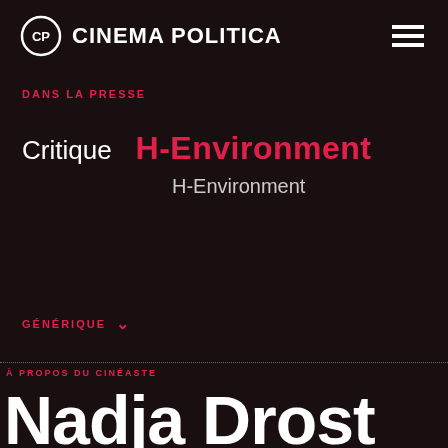CINEMA POLITICA
DANS LA PRESSE
Critique    H-Environment
H-Environment
GÉNÉRIQUE
À PROPOS DU CINÉASTE
Nadja Drost